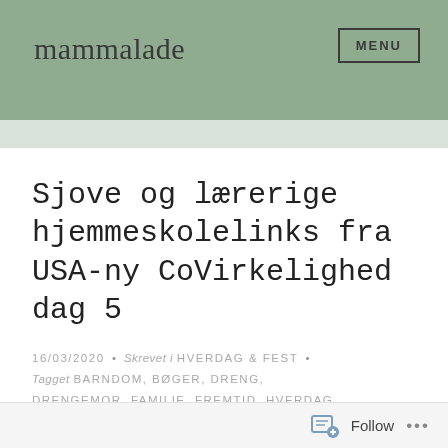mammalade   MENU
Sjove og lærerige hjemmeskolelinks fra USA-ny CoVirkelighed dag 5
16/03/2020 · Skrevet i HVERDAG & FEST · Tagget BARNDOM, BØGER, DRENG, DRENGEMOR, FAMILIE, FREMTID, HVERDAG, HYGGE, JOB, LEGEPLADS, MIN STORE DRENG, MOR, MULIGHEDSJAGT, OPLEVELSER, SAVN, SØN, SJOV, SKOLELIV
Follow ...